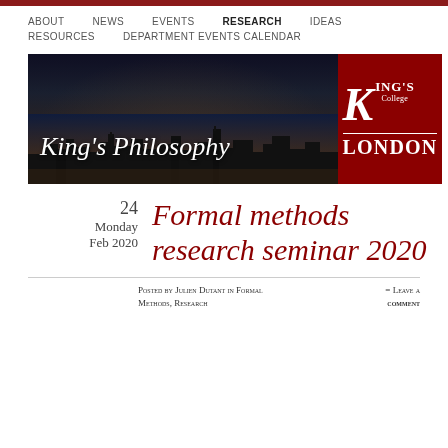ABOUT  NEWS  EVENTS  RESEARCH  IDEAS  RESOURCES  DEPARTMENT EVENTS CALENDAR
[Figure (photo): King's Philosophy banner with London skyline at dusk/night on left, and King's College London logo on red background on right]
24
Monday
Feb 2020
Formal methods research seminar 2020
Posted by Julien Dutant in Formal Methods, Research  = Leave a comment